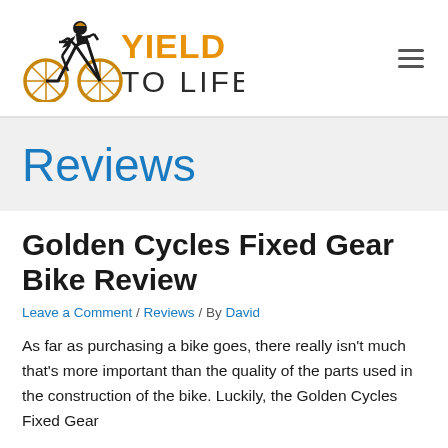[Figure (logo): Yield to Life website logo — cyclist silhouette with 'YIELD TO LIFE' text in orange and dark blue]
Reviews
Golden Cycles Fixed Gear Bike Review
Leave a Comment / Reviews / By David
As far as purchasing a bike goes, there really isn't much that's more important than the quality of the parts used in the construction of the bike. Luckily, the Golden Cycles Fixed Gear